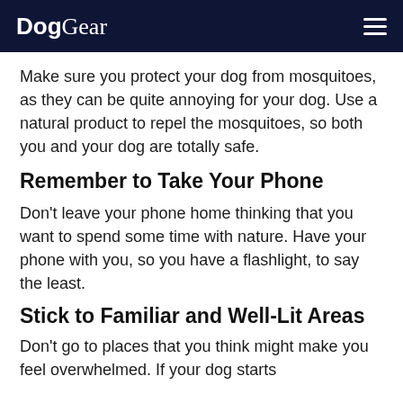DogGear
Make sure you protect your dog from mosquitoes, as they can be quite annoying for your dog. Use a natural product to repel the mosquitoes, so both you and your dog are totally safe.
Remember to Take Your Phone
Don't leave your phone home thinking that you want to spend some time with nature. Have your phone with you, so you have a flashlight, to say the least.
Stick to Familiar and Well-Lit Areas
Don't go to places that you think might make you feel overwhelmed. If your dog starts